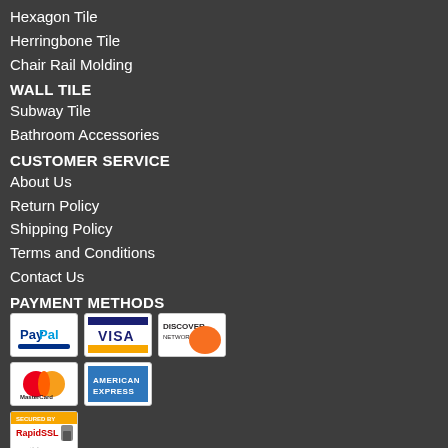Hexagon Tile
Herringbone Tile
Chair Rail Molding
WALL TILE
Subway Tile
Bathroom Accessories
CUSTOMER SERVICE
About Us
Return Policy
Shipping Policy
Terms and Conditions
Contact Us
PAYMENT METHODS
[Figure (logo): PayPal payment logo]
[Figure (logo): Visa payment logo]
[Figure (logo): Discover Network payment logo]
[Figure (logo): MasterCard payment logo]
[Figure (logo): American Express payment logo]
[Figure (logo): Secured by RapidSSL badge]